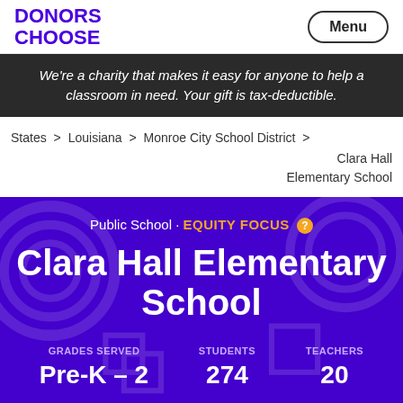DONORS CHOOSE
We're a charity that makes it easy for anyone to help a classroom in need. Your gift is tax-deductible.
States > Louisiana > Monroe City School District > Clara Hall Elementary School
Public School · EQUITY FOCUS
Clara Hall Elementary School
GRADES SERVED Pre-K – 2  STUDENTS 274  TEACHERS 20